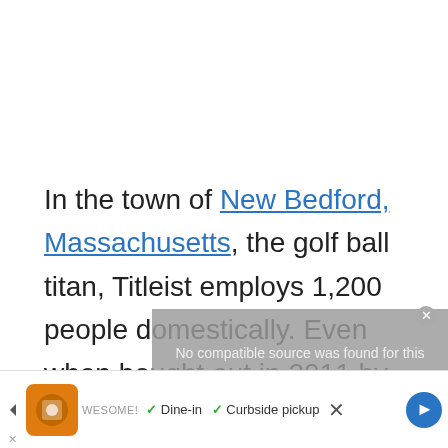In the town of New Bedford, Massachusetts, the golf ball titan, Titleist employs 1,200 people domestically. Even when bought out in 2011 by the South Korean company Fila, the big-wigs at
[Figure (screenshot): Video overlay message: 'No compatible source was found for this' with a close button (X) in the top-right corner]
[Figure (screenshot): Advertisement bar at bottom: left arrow, orange app icon, checkmarks for 'Dine-in' and 'Curbside pickup', blue navigation arrow button, X close button and AWESOME text]